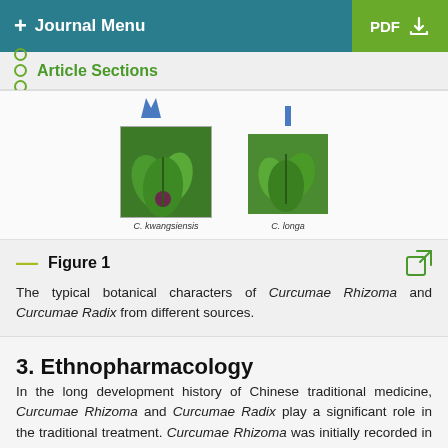+ Journal Menu   PDF ↓
Article Sections
[Figure (photo): Two plant photographs showing C. kwangsiensis and C. longa with blue arrow markers above them]
Figure 1
The typical botanical characters of Curcumae Rhizoma and Curcumae Radix from different sources.
3. Ethnopharmacology
In the long development history of Chinese traditional medicine, Curcumae Rhizoma and Curcumae Radix play a significant role in the traditional treatment. Curcumae Rhizoma was initially recorded in Lei Gong Pao Zhi Lun during the southern and